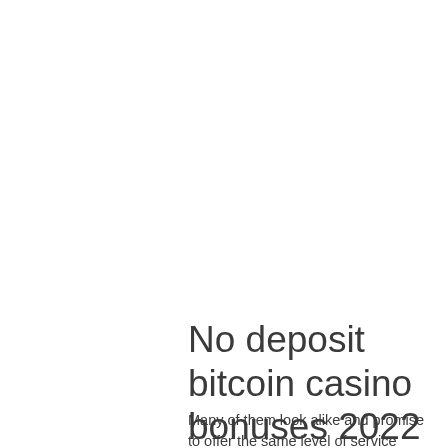No deposit bitcoin casino bonuses 2022
Many of them look alike and promise to offer the same level of service (always the best of